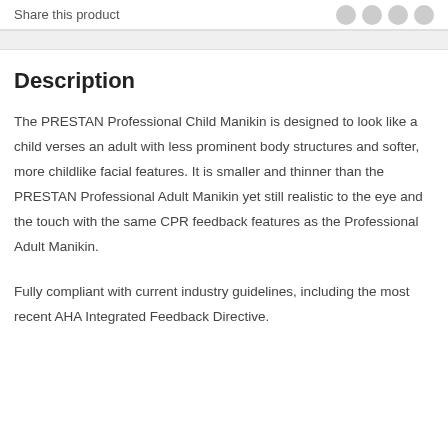Share this product
Description
The PRESTAN Professional Child Manikin is designed to look like a child verses an adult with less prominent body structures and softer, more childlike facial features. It is smaller and thinner than the PRESTAN Professional Adult Manikin yet still realistic to the eye and the touch with the same CPR feedback features as the Professional Adult Manikin.
Fully compliant with current industry guidelines, including the most recent AHA Integrated Feedback Directive.